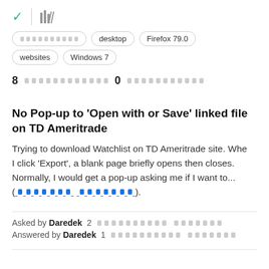[Figure (screenshot): Browser UI top bar with green checkmark, vertical divider, and library/history icon]
[redacted tag] desktop Firefox 79.0
websites Windows 7
8 [redacted] 0 [redacted]
No Pop-up to 'Open with or Save' linked file on TD Ameritrade
Trying to download Watchlist on TD Ameritrade site. When I click 'Export', a blank page briefly opens then closes. Normally, I would get a pop-up asking me if I want to... ([redacted link]).
Asked by Daredek 2 [redacted] Answered by Daredek 1 [redacted]